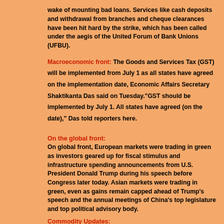wake of mounting bad loans. Services like cash deposits and withdrawal from branches and cheque clearances have been hit hard by the strike, which has been called under the aegis of the United Forum of Bank Unions (UFBU).
Macroeconomic front: The Goods and Services Tax (GST) will be implemented from July 1 as all states have agreed on the implementation date, Economic Affairs Secretary Shaktikanta Das said on Tuesday."GST should be implemented by July 1. All states have agreed (on the date)," Das told reporters here.
On the global front:
On global front, European markets were trading in green as investors geared up for fiscal stimulus and infrastructure spending announcements from U.S. President Donald Trump during his speech before Congress later today. Asian markets were trading in green, even as gains remain capped ahead of Trump's speech and the annual meetings of China's top legislature and top political advisory body.
Commodity Updates: